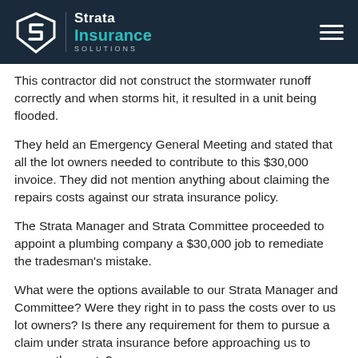Strata Insurance Solutions
This contractor did not construct the stormwater runoff correctly and when storms hit, it resulted in a unit being flooded.
They held an Emergency General Meeting and stated that all the lot owners needed to contribute to this $30,000 invoice. They did not mention anything about claiming the repairs costs against our strata insurance policy.
The Strata Manager and Strata Committee proceeded to appoint a plumbing company a $30,000 job to remediate the tradesman's mistake.
What were the options available to our Strata Manager and Committee? Were they right in to pass the costs over to us lot owners? Is there any requirement for them to pursue a claim under strata insurance before approaching us to recoup the costs?